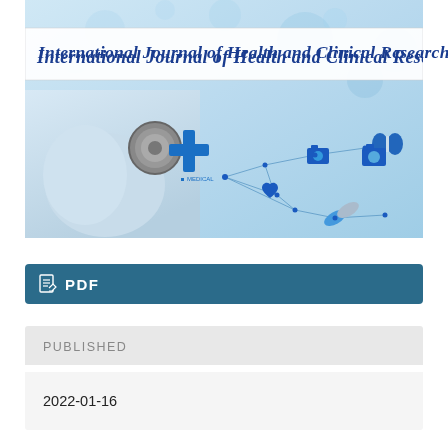[Figure (illustration): Banner image for International Journal of Health and Clinical Research showing a gloved hand holding a stethoscope on the left, and medical icons (blue cross, heart, camera, lungs, pill, syringe, etc.) connected by lines on a light blue background. A white title bar across the upper portion contains the journal name in blue italic serif font.]
International Journal of Health and Clinical Research
PDF
PUBLISHED
2022-01-16